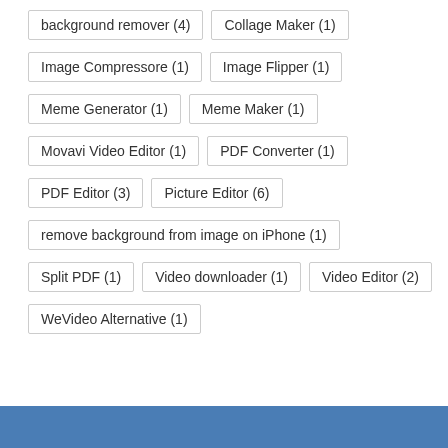background remover (4)
Collage Maker (1)
Image Compressore (1)
Image Flipper (1)
Meme Generator (1)
Meme Maker (1)
Movavi Video Editor (1)
PDF Converter (1)
PDF Editor (3)
Picture Editor (6)
remove background from image on iPhone (1)
Split PDF (1)
Video downloader (1)
Video Editor (2)
WeVideo Alternative (1)